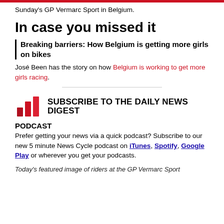Sunday's GP Vermarc Sport in Belgium.
In case you missed it
Breaking barriers: How Belgium is getting more girls on bikes
José Been has the story on how Belgium is working to get more girls racing.
[Figure (illustration): Red bar chart icon representing the daily news digest podcast]
SUBSCRIBE TO THE DAILY NEWS DIGEST PODCAST
Prefer getting your news via a quick podcast? Subscribe to our new 5 minute News Cycle podcast on iTunes, Spotify, Google Play or wherever you get your podcasts.
Today's featured image of riders at the GP Vermarc Sport